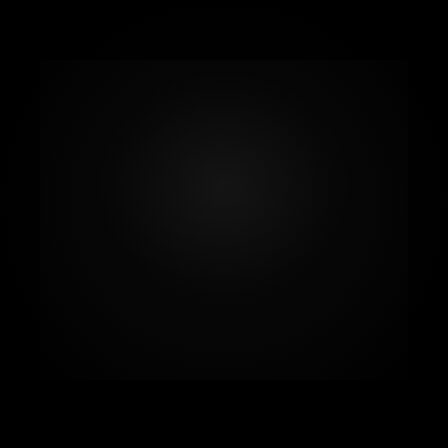[Figure (photo): A very dark, nearly black image. The page appears to be a full-bleed black or near-black photograph or background with minimal visible detail. Very faint outlines or textures may be present but the image is predominantly black.]